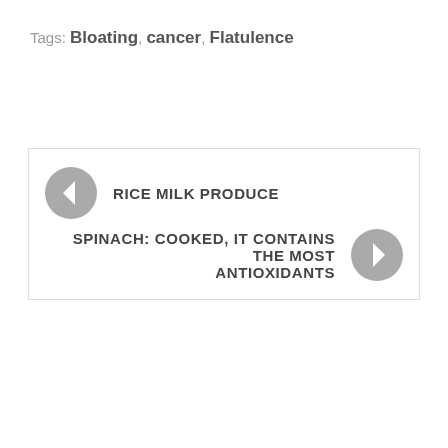Tags: Bloating, cancer, Flatulence
← RICE MILK PRODUCE
SPINACH: COOKED, IT CONTAINS THE MOST ANTIOXIDANTS →
MEDICATIONS
We and our partners use cookies on this site to improve our service, perform analytics, personalize advertising, measure advertising performance, and remember website preferences.
Ok